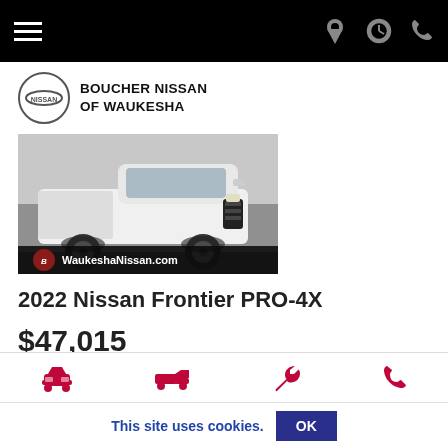Navigation bar with hamburger menu and icons (location, clock, phone)
[Figure (logo): Nissan logo circle with BOUCHER NISSAN OF WAUKESHA text]
[Figure (photo): 2022 Nissan Frontier PRO-4X white pickup truck with WaukeshaNissan.com overlay]
2022 Nissan Frontier PRO-4X
$47,015
DETAILS  SAVE
Icon bar with car, truck, wrench, phone icons
This site uses cookies.  OK